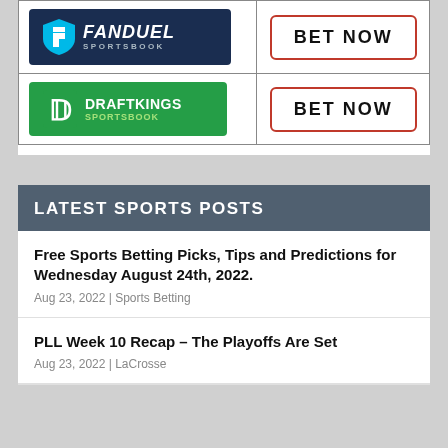| Sportsbook | Action |
| --- | --- |
| FanDuel Sportsbook | BET NOW |
| DraftKings Sportsbook | BET NOW |
LATEST SPORTS POSTS
Free Sports Betting Picks, Tips and Predictions for Wednesday August 24th, 2022.
Aug 23, 2022 | Sports Betting
PLL Week 10 Recap – The Playoffs Are Set
Aug 23, 2022 | LaCrosse